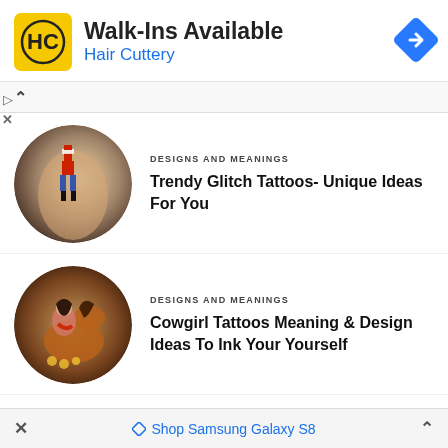[Figure (screenshot): Hair Cuttery advertisement banner with yellow HC logo, text 'Walk-Ins Available' and 'Hair Cuttery', and a blue diamond navigation icon]
DESIGNS AND MEANINGS
Trendy Glitch Tattoos- Unique Ideas For You
[Figure (photo): Circular photo of a glitch-style pixel figure tattoo on a wrist/forearm]
DESIGNS AND MEANINGS
Cowgirl Tattoos Meaning & Design Ideas To Ink Your Yourself
[Figure (photo): Circular photo of a cowgirl and horse tattoo on a leg]
Shop Samsung Galaxy S8